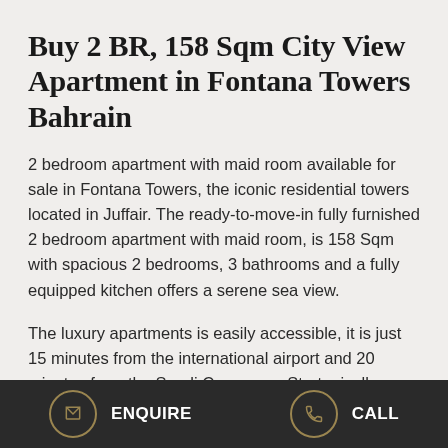Buy 2 BR, 158 Sqm City View Apartment in Fontana Towers Bahrain
2 bedroom apartment with maid room available for sale in Fontana Towers, the iconic residential towers located in Juffair. The ready-to-move-in fully furnished 2 bedroom apartment with maid room, is 158 Sqm with spacious 2 bedrooms, 3 bathrooms and a fully equipped kitchen offers a serene sea view.
The luxury apartments is easily accessible, it is just 15 minutes from the international airport and 20 minutes from the Saudi Causeway. Strategically located on the main road with its own entrance, with stunning Seafront views, it is an
ENQUIRE   CALL